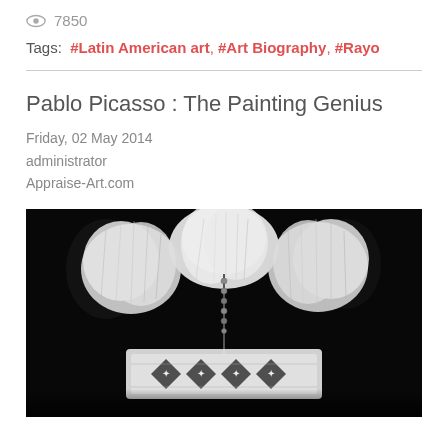7850
Tags:  #Latin American art, #Art Biography, #Rayo
Pablo Picasso : The Painting Genius
Friday, 02 May 2014
administrator
Appraise-Art.com
[Figure (photo): Black and white photograph of a Native American feathered headdress with white fluffy feathers and beaded decorative elements at the bottom, shown from behind against a dark background]